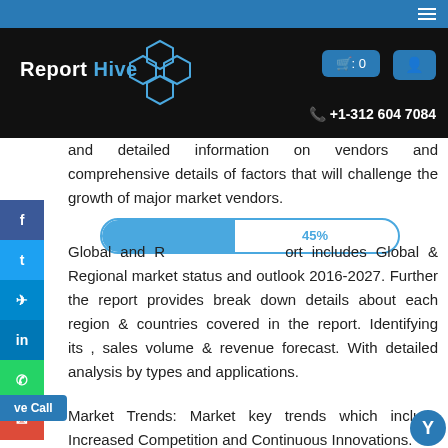Report Hive — +1-312 604 7084
and detailed information on vendors and comprehensive details of factors that will challenge the growth of major market vendors.
Global and Regional market report includes Global & Regional market status and outlook 2016-2027. Further the report provides break down details about each region & countries covered in the report. Identifying its sales volume & revenue forecast. With detailed analysis by types and applications.
Market Trends: Market key trends which include Increased Competition and Continuous Innovations.